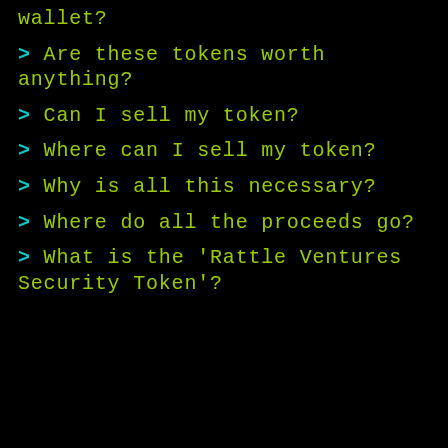wallet?
> Are these tokens worth anything?
> Can I sell my token?
> Where can I sell my token?
> Why is all this necessary?
> Where do all the proceeds go?
> What is the 'Rattle Ventures Security Token'?